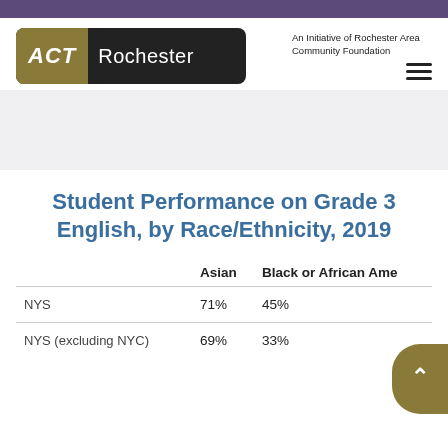[Figure (logo): ACT Rochester logo — olive/gold ACT block with white Rochester text on dark background, with tagline 'An Initiative of Rochester Area Community Foundation']
Student Performance on Grade 3 English, by Race/Ethnicity, 2019
|  | Asian | Black or African Ame |
| --- | --- | --- |
| NYS | 71% | 45% |
| NYS (excluding NYC) | 69% | 33% |